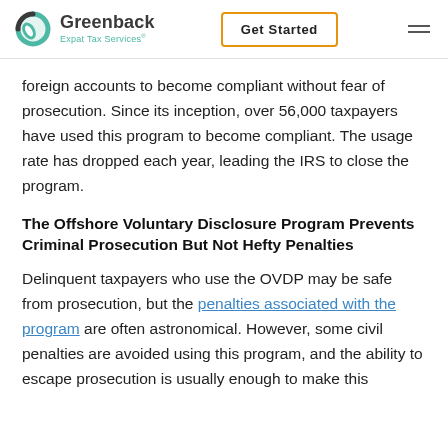Greenback Expat Tax Services | Get Started
foreign accounts to become compliant without fear of prosecution. Since its inception, over 56,000 taxpayers have used this program to become compliant. The usage rate has dropped each year, leading the IRS to close the program.
The Offshore Voluntary Disclosure Program Prevents Criminal Prosecution But Not Hefty Penalties
Delinquent taxpayers who use the OVDP may be safe from prosecution, but the penalties associated with the program are often astronomical. However, some civil penalties are avoided using this program, and the ability to escape prosecution is usually enough to make this